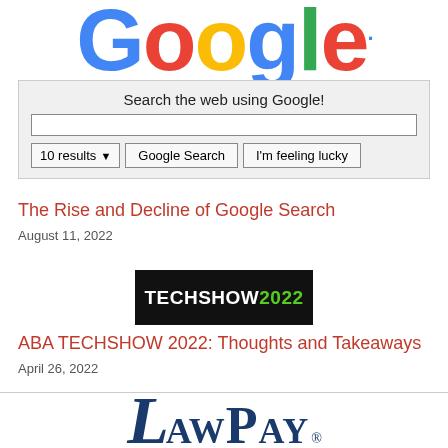[Figure (logo): Google logo in multicolor letters: G(blue), o(red), o(yellow), g(blue), l(green), e(red) with a blue dot]
[Figure (screenshot): Google search box interface with label 'Search the web using Google!', a text input field, and three buttons: '10 results' dropdown, 'Google Search', and 'I'm feeling lucky']
The Rise and Decline of Google Search
August 11, 2022
[Figure (logo): TECHSHOW2022 logo on black background, white text 'TECHSHOW' and green text '2022']
ABA TECHSHOW 2022: Thoughts and Takeaways
April 26, 2022
[Figure (logo): LawPay logo in dark navy blue serif font with large italic L and small-caps 'AWPAY' with registered trademark symbol]